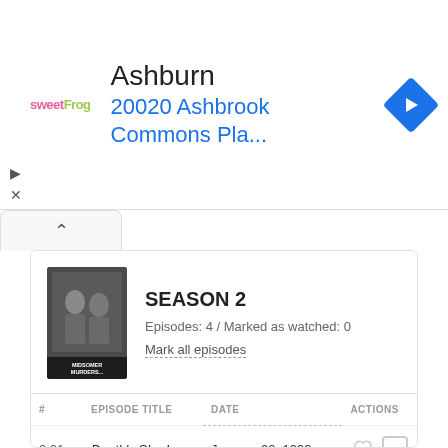[Figure (screenshot): Advertisement banner for sweetFrog frozen yogurt in Ashburn at 20020 Ashbrook Commons Pla...]
SEASON 2
Episodes: 4  /  Marked as watched: 0
Mark all episodes
| # | EPISODE TITLE | DATE | ACTIONS |
| --- | --- | --- | --- |
| 2.01 | Death's Shadow | January 20, 1999 |  |
| 2.02 | Strangler's Wood | February 3, 1999 |  |
| 2.03 | Dead Man's Eleven | September 12, 1999 |  |
| 2.04 | Blood Will Out | September 19, 1999 |  |